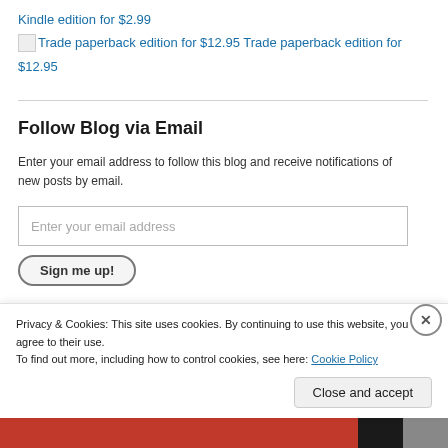Kindle edition for $2.99
Trade paperback edition for $12.95 Trade paperback edition for $12.95
Follow Blog via Email
Enter your email address to follow this blog and receive notifications of new posts by email.
Enter your email address
Sign me up!
Privacy & Cookies: This site uses cookies. By continuing to use this website, you agree to their use.
To find out more, including how to control cookies, see here: Cookie Policy
Close and accept